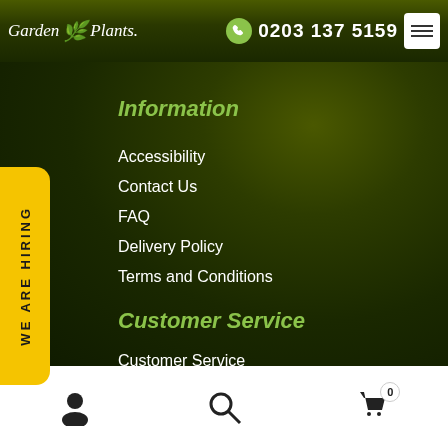Garden Plants | 0203 137 5159
Information
Accessibility
Contact Us
FAQ
Delivery Policy
Terms and Conditions
Customer Service
Customer Service
Cancellations and Returns
Privacy Policy
Secure Shopping
[Figure (logo): Payment logos: VISA, MasterCard, Maestro, American Express]
[Figure (infographic): WE ARE HIRING vertical badge in yellow]
User icon, Search icon, Shopping cart with 0 items